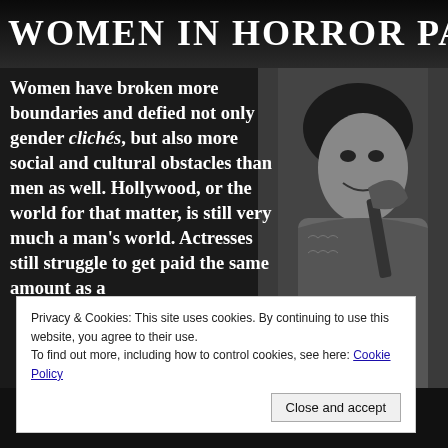WOMEN IN HORROR PART
Women have broken more boundaries and defied not only gender clichés, but also more social and cultural obstacles than men as well. Hollywood, or the world for that matter, is still very much a man's world. Actresses still struggle to get paid the same amount as a
[Figure (photo): Black and white photo of a woman holding an axe with a surprised/dramatic expression, dressed in a patterned top]
movies are known
Privacy & Cookies: This site uses cookies. By continuing to use this website, you agree to their use.
To find out more, including how to control cookies, see here: Cookie Policy
Close and accept